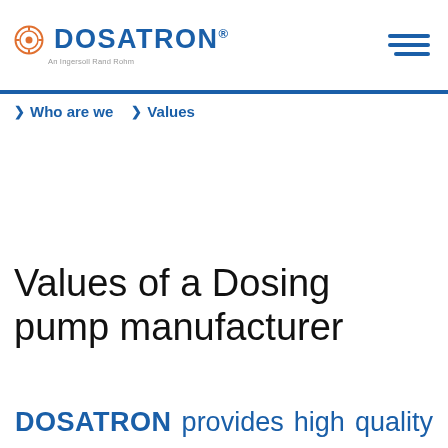DOSATRON® An Ingersoll Rand Rohm
❯ Who are we   ❯ Values
Values of a Dosing pump manufacturer
DOSATRON   provides   high   quality